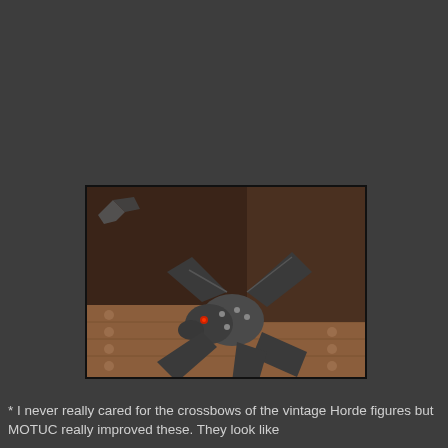[Figure (photo): A dark metallic bat-winged creature toy/figure (crossbow or creature accessory from vintage MOTU/Horde toy line) resting on a brown wooden-looking platform with circular stud details. The figure has a dog-like head with a red eye, armored body, and large angular wings. Another similar figure is partially visible in the upper left corner.]
* I never really cared for the crossbows of the vintage Horde figures but MOTUC really improved these. They look like